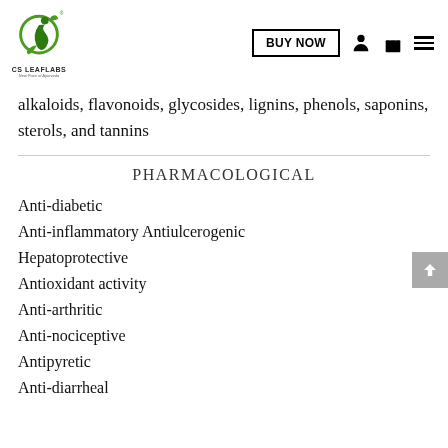CS LEAFLABS — BUY NOW navigation header
alkaloids, flavonoids, glycosides, lignins, phenols, saponins, sterols, and tannins
PHARMACOLOGICAL
Anti-diabetic
Anti-inflammatory Antiulcerogenic
Hepatoprotective
Antioxidant activity
Anti-arthritic
Anti-nociceptive
Antipyretic
Anti-diarrheal